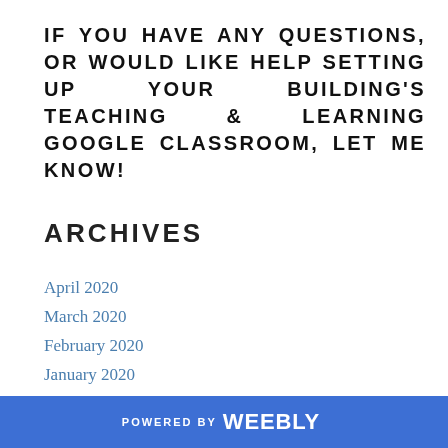IF YOU HAVE ANY QUESTIONS, OR WOULD LIKE HELP SETTING UP YOUR BUILDING'S TEACHING & LEARNING GOOGLE CLASSROOM, LET ME KNOW!
ARCHIVES
April 2020
March 2020
February 2020
January 2020
December 2019
November 2019
October 2019
POWERED BY weebly